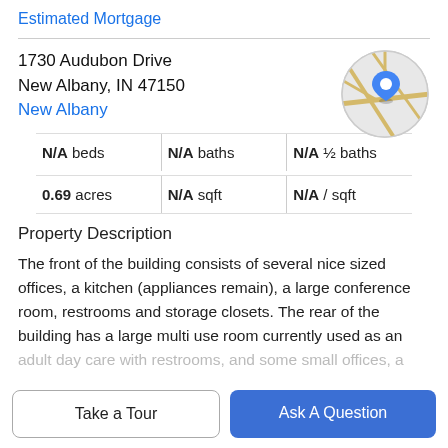Estimated Mortgage
1730 Audubon Drive
New Albany, IN 47150
New Albany
[Figure (map): Circular map thumbnail showing street map with a blue location pin marker in the center, with light gray and yellow road lines on a gray background.]
| beds | baths | ½ baths |
| --- | --- | --- |
| N/A beds | N/A baths | N/A ½ baths |
| 0.69 acres | N/A sqft | N/A / sqft |
Property Description
The front of the building consists of several nice sized offices, a kitchen (appliances remain), a large conference room, restrooms and storage closets. The rear of the building has a large multi use room currently used as an adult day care with restrooms, and some small offices, a
Take a Tour
Ask A Question